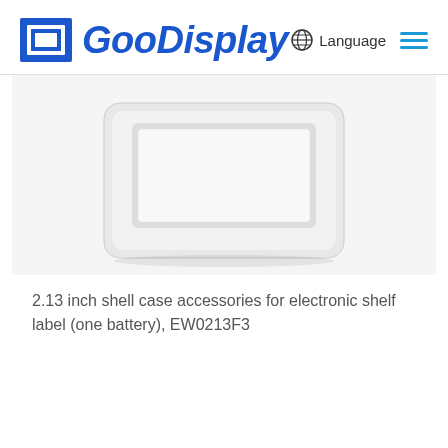[Figure (logo): GooDisplay company logo with blue square bracket icon and italic blue bold text 'GooDisplay']
🌐 Language ≡
[Figure (photo): 2.13 inch white electronic shelf label shell case product photo, viewed from front angle showing rectangular device with display window]
2.13 inch shell case accessories for electronic shelf label (one battery), EW0213F3